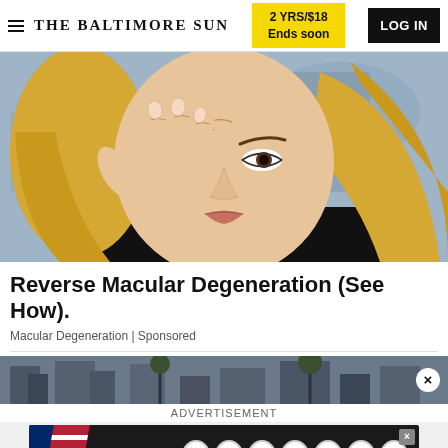THE BALTIMORE SUN — 2 YRS/$18 Ends soon — LOG IN
[Figure (photo): Blonde woman rubbing or touching her eye with her hand, appearing to be in distress, outdoors with blurred background]
Reverse Macular Degeneration (See How).
Macular Degeneration | Sponsored
[Figure (photo): Partial aerial or street view image of buildings/cityscape with a close (X) button overlay]
ADVERTISEMENT
[Figure (screenshot): Advertisement banner: The original BERGERS (styled lettering with American flag and oval letter logos)]